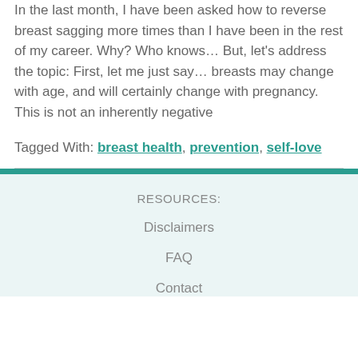In the last month, I have been asked how to reverse breast sagging more times than I have been in the rest of my career. Why? Who knows… But, let's address the topic: First, let me just say… breasts may change with age, and will certainly change with pregnancy. This is not an inherently negative
Tagged With: breast health, prevention, self-love
RESOURCES: Disclaimers FAQ Contact